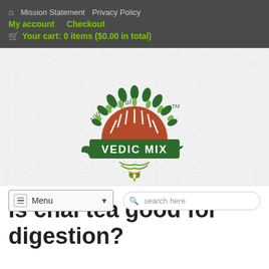🏠  Mission Statement   Privacy Policy
My account   Checkout
🛒 Your cart: 0 items ($0.00 in total)
[Figure (logo): Vedic Mix logo: semicircle of green leaf plants over a red/orange rising sun, banner reading VEDIC MIX with TM mark, green ornamental flourish below, text '100% Natural' arched above]
Menu  ▾   search here
Is chai tea good for digestion?